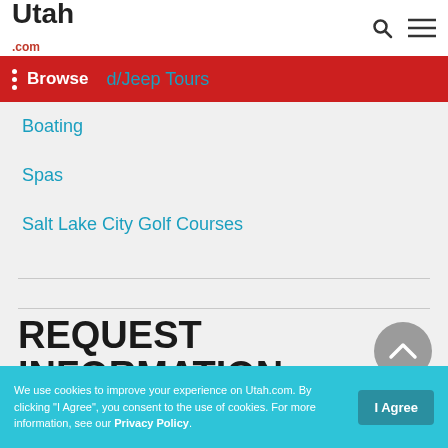Utah.com
Browse | d/Jeep Tours
Boating
Spas
Salt Lake City Golf Courses
REQUEST INFORMATION
TRAVEL BUREAU INFORMATION
TEMPLE SQUARE HOSPITALITY
We use cookies to improve your experience on Utah.com. By clicking "I Agree", you consent to the use of cookies. For more information, see our Privacy Policy.